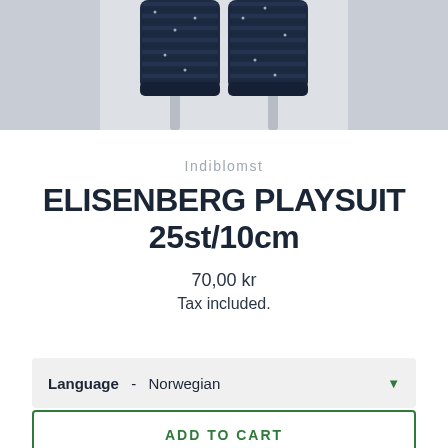[Figure (photo): Photo of navy blue knitted baby playsuit sleeves hanging on a metal rod against a light grey background]
Indiblomst
ELISENBERG PLAYSUIT 25st/10cm
70,00 kr
Tax included.
Language  -  Norwegian
ADD TO CART